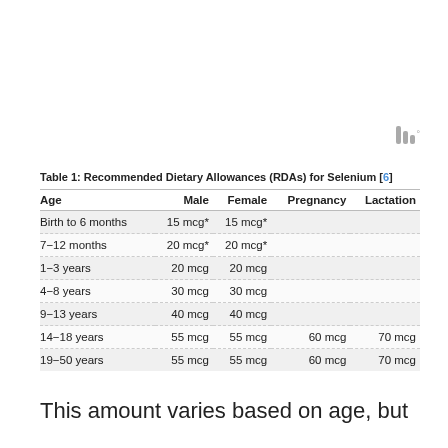[Figure (logo): Three vertical bars of decreasing height forming a logo with a degree symbol]
Table 1: Recommended Dietary Allowances (RDAs) for Selenium [6]
| Age | Male | Female | Pregnancy | Lactation |
| --- | --- | --- | --- | --- |
| Birth to 6 months | 15 mcg* | 15 mcg* |  |  |
| 7–12 months | 20 mcg* | 20 mcg* |  |  |
| 1–3 years | 20 mcg | 20 mcg |  |  |
| 4–8 years | 30 mcg | 30 mcg |  |  |
| 9–13 years | 40 mcg | 40 mcg |  |  |
| 14–18 years | 55 mcg | 55 mcg | 60 mcg | 70 mcg |
| 19–50 years | 55 mcg | 55 mcg | 60 mcg | 70 mcg |
This amount varies based on age, but